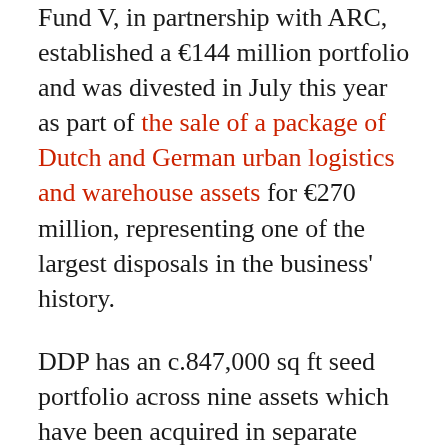Fund V, in partnership with ARC, established a €144 million portfolio and was divested in July this year as part of the sale of a package of Dutch and German urban logistics and warehouse assets for €270 million, representing one of the largest disposals in the business' history.
DDP has an c.847,000 sq ft seed portfolio across nine assets which have been acquired in separate transactions by Europa Capital and ARC for a total of €65 million.  The regionally diversified seed portfolio has assets in Oss, Tilburg, Den Bosch, Lelystad, Houten, Asten, Nieuw-Vennep as well as Almere and comprises eight fully let